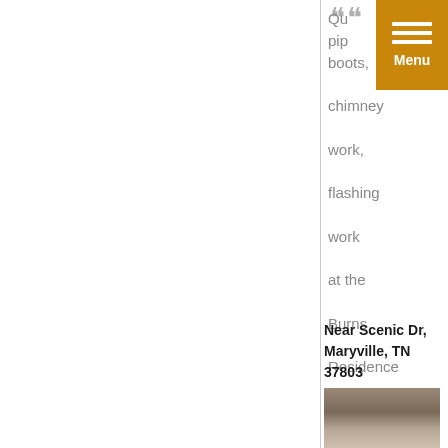Quality pipe work, boots, chimney work, flashing work at the Burns Residence in Maryville TN
Near Scenic Dr, Maryville, TN 37803
[Figure (photo): Outdoor photo near Scenic Dr, Maryville TN showing a road or driveway with trees in background]